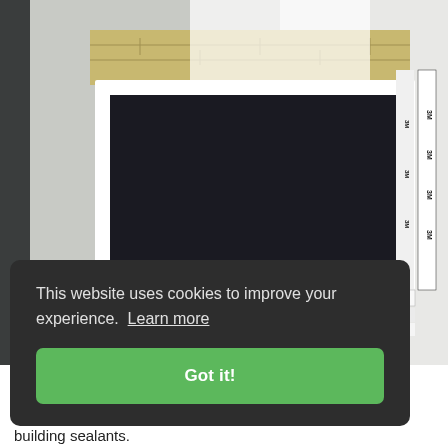[Figure (photo): Construction photo showing a window with white frame installed on a building exterior wall, surrounded by 3M flashing tape and weather barrier membrane. 3M branding visible on tapes.]
This website uses cookies to improve your experience.  Learn more
Got it!
building sealants.